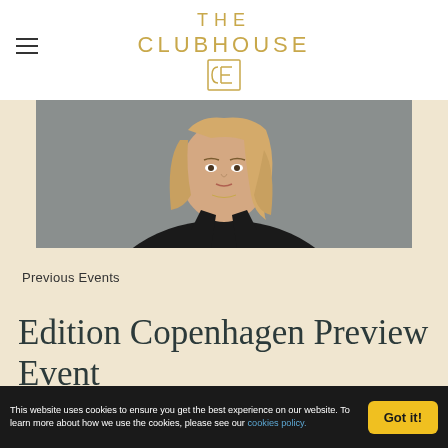THE CLUBHOUSE
[Figure (photo): Partial view of a blonde woman in a black blazer, seated, photographed from the shoulders up against a grey background.]
Previous Events
Edition Copenhagen Preview Event
This website uses cookies to ensure you get the best experience on our website. To learn more about how we use the cookies, please see our cookies policy.